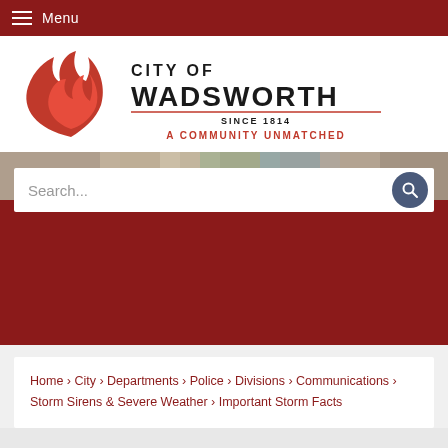Menu
[Figure (logo): City of Wadsworth logo with red flame icon and text 'CITY OF WADSWORTH — SINCE 1814 — A COMMUNITY UNMATCHED']
Search...
Home › City › Departments › Police › Divisions › Communications › Storm Sirens & Severe Weather › Important Storm Facts